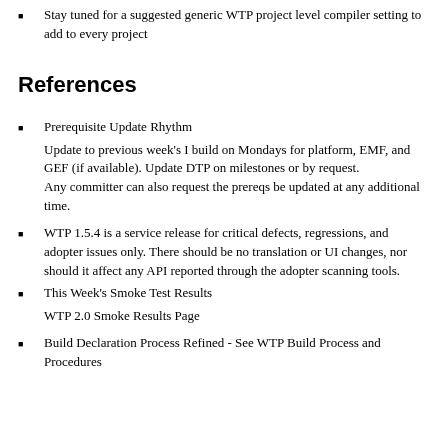Stay tuned for a suggested generic WTP project level compiler setting to add to every project
References
Prerequisite Update Rhythm
Update to previous week's I build on Mondays for platform, EMF, and GEF (if available). Update DTP on milestones or by request.
Any committer can also request the prereqs be updated at any additional time.
WTP 1.5.4 is a service release for critical defects, regressions, and adopter issues only. There should be no translation or UI changes, nor should it affect any API reported through the adopter scanning tools.
This Week's Smoke Test Results
WTP 2.0 Smoke Results Page
Build Declaration Process Refined - See WTP Build Process and Procedures